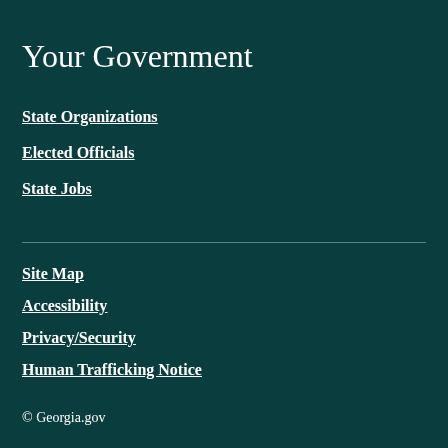Your Government
State Organizations
Elected Officials
State Jobs
Site Map
Accessibility
Privacy/Security
Human Trafficking Notice
© Georgia.gov